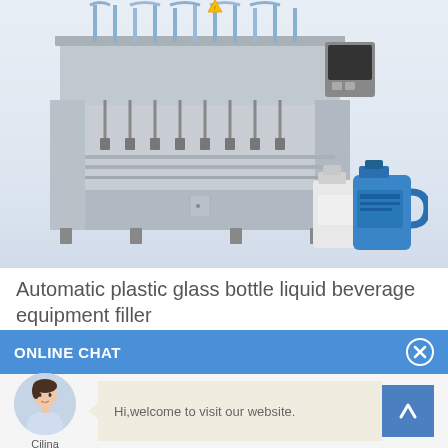[Figure (photo): Industrial automatic plastic glass bottle liquid beverage equipment filler machine — large stainless steel filling machine with multiple nozzles and tubing on top, control panel on right side. In the foreground lower right are two plastic bottles: one white and one blue.]
Automatic plastic glass bottle liquid beverage equipment filler
ONLINE CHAT
[Figure (photo): Avatar photo of a young woman named Cilina, wearing a light blue shirt, used as a customer service representative avatar in the online chat widget.]
Cilina
Hi,welcome to visit our website.